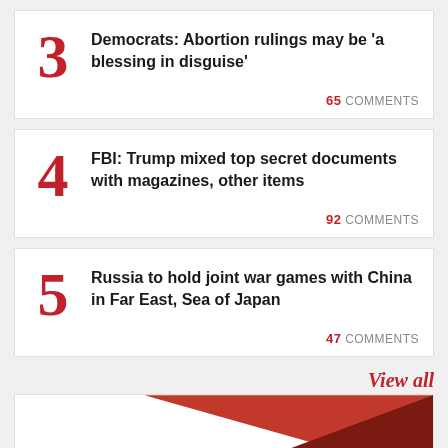3 Democrats: Abortion rulings may be 'a blessing in disguise' — 65 COMMENTS
4 FBI: Trump mixed top secret documents with magazines, other items — 92 COMMENTS
5 Russia to hold joint war games with China in Far East, Sea of Japan — 47 COMMENTS
View all
[Figure (illustration): Decorative red/brown triangular graphic in bottom card]